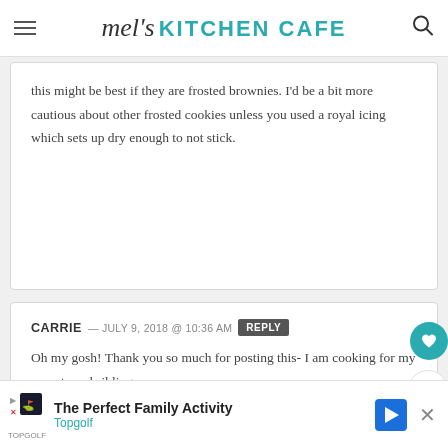mel's KITCHEN CAFE
this might be best if they are frosted brownies. I'd be a bit more cautious about other frosted cookies unless you used a royal icing which sets up dry enough to not stick.
CARRIE — JULY 9, 2018 @ 10:36 AM  REPLY
Oh my gosh! Thank you so much for posting this- I am cooking for my parents and siblings
The Perfect Family Activity  Topgolf